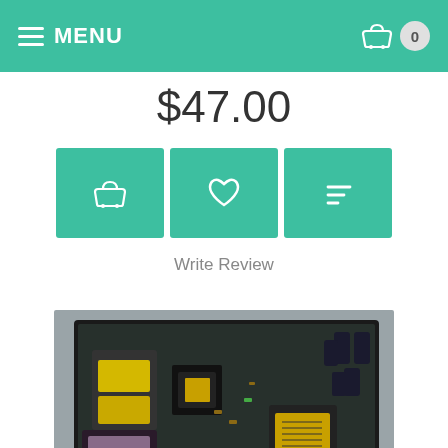MENU  0
$47.00
[Figure (screenshot): Three teal action buttons: basket/cart icon, heart/wishlist icon, and a list/compare icon]
Write Review
[Figure (photo): Photo of a TV or electronics power supply circuit board (PCB) with transformers, capacitors, and other components on a dark background, with a circular eye/view icon badge in the lower right corner]